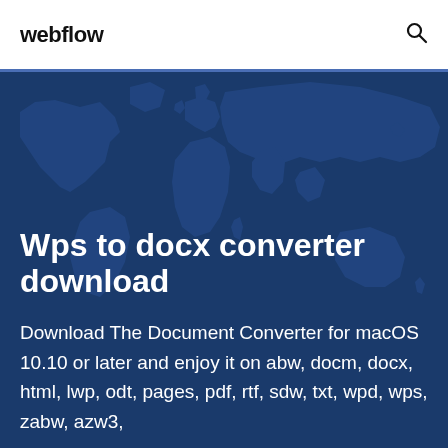webflow
Wps to docx converter download
Download The Document Converter for macOS 10.10 or later and enjoy it on abw, docm, docx, html, lwp, odt, pages, pdf, rtf, sdw, txt, wpd, wps, zabw, azw3,